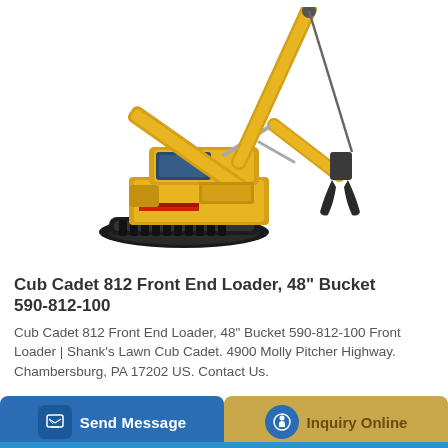[Figure (photo): Yellow tracked excavator / construction equipment with extended arm and grapple/bucket attachment, on white background]
Cub Cadet 812 Front End Loader, 48" Bucket 590-812-100
Cub Cadet 812 Front End Loader, 48" Bucket 590-812-100 Front Loader | Shank's Lawn Cub Cadet. 4900 Molly Pitcher Highway. Chambersburg, PA 17202 US. Contact Us.